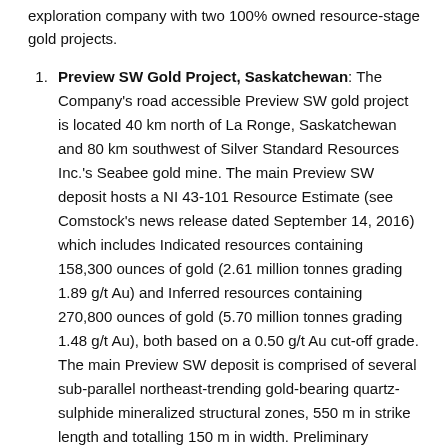exploration company with two 100% owned resource-stage gold projects.
Preview SW Gold Project, Saskatchewan: The Company's road accessible Preview SW gold project is located 40 km north of La Ronge, Saskatchewan and 80 km southwest of Silver Standard Resources Inc.'s Seabee gold mine. The main Preview SW deposit hosts a NI 43-101 Resource Estimate (see Comstock's news release dated September 14, 2016) which includes Indicated resources containing 158,300 ounces of gold (2.61 million tonnes grading 1.89 g/t Au) and Inferred resources containing 270,800 ounces of gold (5.70 million tonnes grading 1.48 g/t Au), both based on a 0.50 g/t Au cut-off grade. The main Preview SW deposit is comprised of several sub-parallel northeast-trending gold-bearing quartz-sulphide mineralized structural zones, 550 m in strike length and totalling 150 m in width. Preliminary metallurgical test work